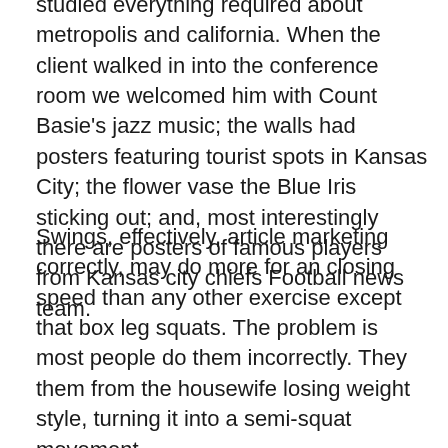studied everything required about metropolis and california. When the client walked in into the conference room we welcomed him with Count Basie’s jazz music; the walls had posters featuring tourist spots in Kansas City; the flower vase the Blue Iris sticking out; and, most interestingly there are posters of famous players from Kansas city chiefs Football news team.
Swings, effectively, article marketing correctly, may do more for an closing speed than any other exercise except that box leg squats. The problem is most people do them incorrectly. They them from the housewife losing weight style, turning it into a semi-squat movement.